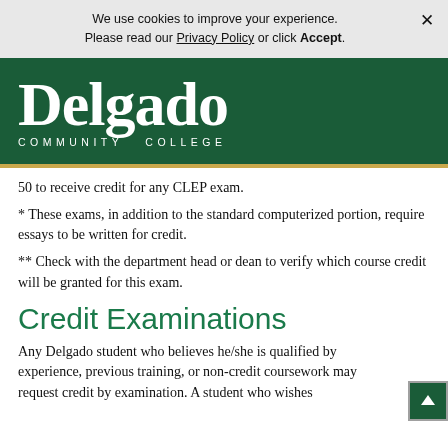We use cookies to improve your experience. Please read our Privacy Policy or click Accept.
[Figure (logo): Delgado Community College logo — white serif text on dark green background with gold bottom border]
50 to receive credit for any CLEP exam.
* These exams, in addition to the standard computerized portion, require essays to be written for credit.
** Check with the department head or dean to verify which course credit will be granted for this exam.
Credit Examinations
Any Delgado student who believes he/she is qualified by experience, previous training, or non-credit coursework may request credit by examination. A student who wishes